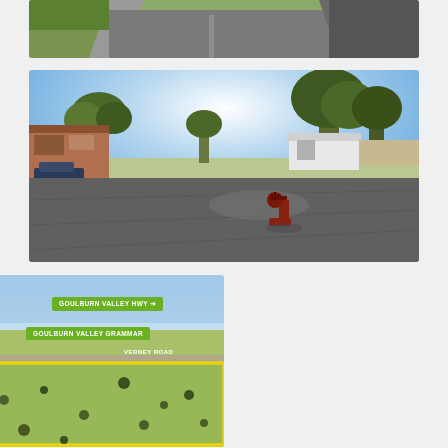[Figure (photo): Partially visible photo of a road/driveway with gravel embankment and asphalt surface, top of page]
[Figure (photo): Photo of a large asphalt yard/car park area with tall eucalyptus trees in background, buildings on left and right, a red pipe fitting/valve in foreground centre-right, blue sky]
[Figure (photo): Aerial photo of rural land parcel with yellow boundary outline, featuring text labels: GOULBURN VALLEY HWY with arrow, SHEPPARTON TOWN CENTRE, GOULBURN VALLEY GRAMMAR, VERNEY ROAD. Blue sky above flat agricultural land with scattered trees.]